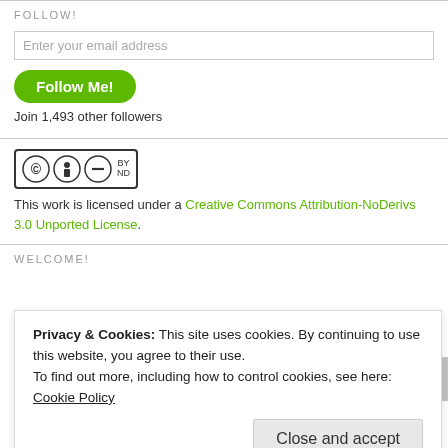FOLLOW!
Enter your email address
Follow Me!
Join 1,493 other followers
[Figure (logo): Creative Commons Attribution-NoDerivs badge with CC, BY, and ND icons]
This work is licensed under a Creative Commons Attribution-NoDerivs 3.0 Unported License.
WELCOME!
Privacy & Cookies: This site uses cookies. By continuing to use this website, you agree to their use.
To find out more, including how to control cookies, see here: Cookie Policy
Close and accept